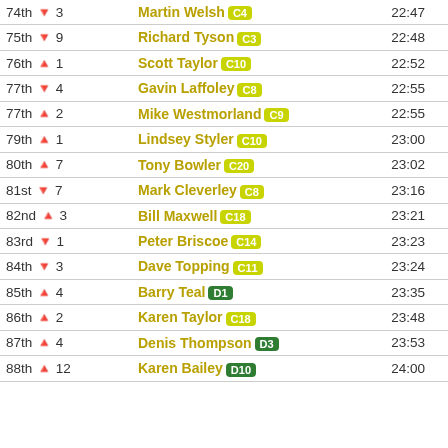| Rank | Name | Time | Score |
| --- | --- | --- | --- |
| 74th ↓ 3 | Martin Welsh · C4 | 22:47 | 4167 |
| 75th ↓ 9 | Richard Tyson · C3 | 22:48 | 4195 |
| 76th ↑ 1 | Scott Taylor · C10 | 22:52 | 4302 |
| 77th ↓ 4 | Gavin Laffoley · C8 | 22:55 | 4380 |
| 77th ↑ 2 | Mike Westmorland · C9 | 22:55 | 4380 |
| 79th ↑ 1 | Lindsey Styler · C10 | 23:00 | 4505 |
| 80th ↑ 7 | Tony Bowler · C20 | 23:02 | 4553 |
| 81st ↓ 7 | Mark Cleverley · C8 | 23:16 | 4872 |
| 82nd ↑ 3 | Bill Maxwell · C18 | 23:21 | 4983 |
| 83rd ↓ 1 | Peter Briscoe · C14 | 23:23 | 5027 |
| 84th ↓ 3 | Dave Topping · C11 | 23:24 | 5049 |
| 85th ↑ 4 | Barry Teal · D1 | 23:35 | 5284 |
| 86th ↑ 2 | Karen Taylor · C18 | 23:48 | 5550 |
| 87th ↑ 4 | Denis Thompson · D3 | 23:53 | 5649 |
| 88th ↑ 12 | Karen Bailey · D10 | 24:00 | 5784 |